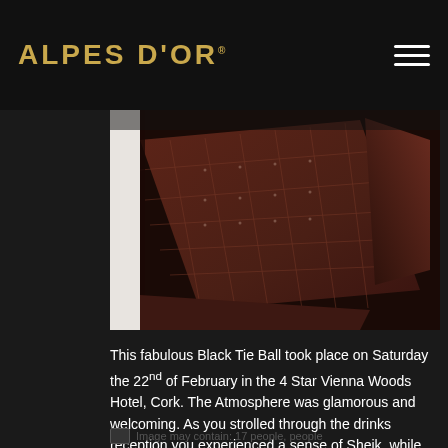ALPES D'OR
[Figure (photo): Close-up photo of dark chocolate squares with diamond grid pattern embossed on surface, rich dark brown color, multiple pieces arranged together]
This fabulous Black Tie Ball took place on Saturday the 22nd of February in the 4 Star Vienna Woods Hotel, Cork. The Atmosphere was glamorous and welcoming. As you strolled through the drinks reception you experienced a sense of Sheik, while the feast was being prepared for the guests.
Image may contain: 17 people, people